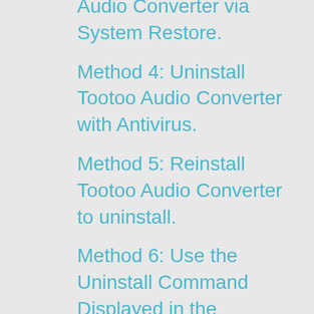Method 3: Uninstall Tootoo Audio Converter via System Restore.
Method 4: Uninstall Tootoo Audio Converter with Antivirus.
Method 5: Reinstall Tootoo Audio Converter to uninstall.
Method 6: Use the Uninstall Command Displayed in the Registry.
Method 7: Uninstall Tootoo Audio Converter with Third-party Uninstaller.